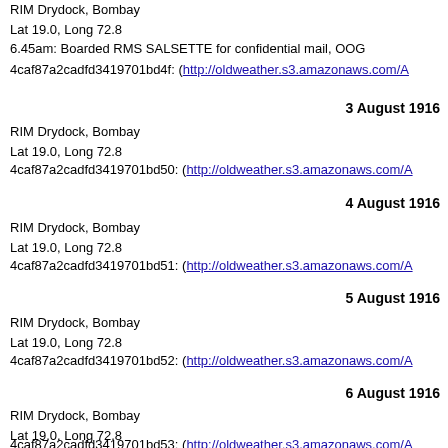RIM Drydock, Bombay
Lat 19.0, Long 72.8
6.45am: Boarded RMS SALSETTE for confidential mail, OOG
4caf87a2cadfd3419701bd4f: (http://oldweather.s3.amazonaws.com/A...
3 August 1916
RIM Drydock, Bombay
Lat 19.0, Long 72.8
4caf87a2cadfd3419701bd50: (http://oldweather.s3.amazonaws.com/A...
4 August 1916
RIM Drydock, Bombay
Lat 19.0, Long 72.8
4caf87a2cadfd3419701bd51: (http://oldweather.s3.amazonaws.com/A...
5 August 1916
RIM Drydock, Bombay
Lat 19.0, Long 72.8
4caf87a2cadfd3419701bd52: (http://oldweather.s3.amazonaws.com/A...
6 August 1916
RIM Drydock, Bombay
Lat 19.0, Long 72.8
4caf87a2cadfd3419701bd53: (http://oldweather.s3.amazonaws.com/A...